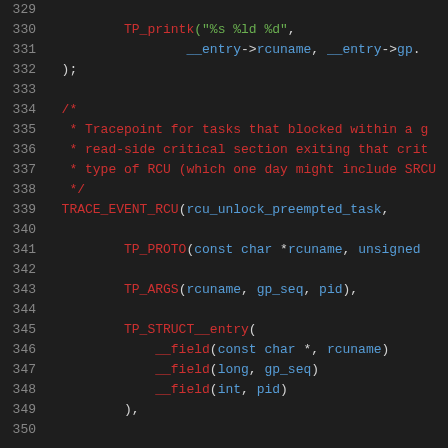Source code lines 330-350 showing C kernel tracepoint macros for rcu_unlock_preempted_task